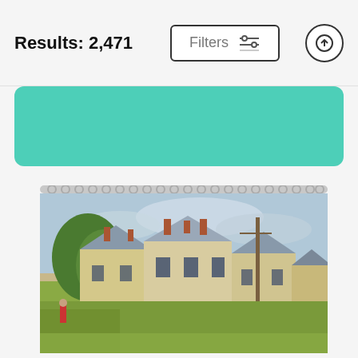Results: 2,471
[Figure (screenshot): Filters button with sliders icon and an upload/up arrow circle button in the header]
[Figure (photo): Teal/green rounded rectangle bar, possibly a search bar or banner element]
[Figure (photo): Shower curtain product image featuring an impressionist painting of Victorian houses and a street scene with a utility pole]